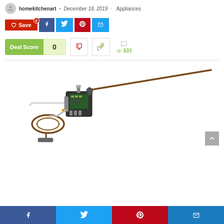homekitchenart • December 18, 2019 · Appliances
[Figure (screenshot): Social sharing buttons: Save (red), Facebook (blue), Twitter (light blue), Pinterest (red), Email (light blue)]
[Figure (infographic): Deal Score: 0, with thumbs down and thumbs up vote buttons, comment icon, and 533 views]
[Figure (photo): Product photo of a thermostat/temperature sensor component with a long copper probe rod and coiled capillary tube on a white background]
[Figure (screenshot): Bottom social share bar with Facebook, Twitter, Pinterest, and Email icons]